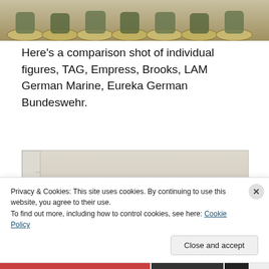[Figure (photo): Top portion of photo showing miniature figures on circular bases arranged in a row, cropped at top]
Here's a comparison shot of individual figures, TAG, Empress, Brooks, LAM German Marine, Eureka German Bundeswehr.
[Figure (photo): Three groups of painted military miniature figures on oval bases next to a ruler, showing scale comparison]
Privacy & Cookies: This site uses cookies. By continuing to use this website, you agree to their use.
To find out more, including how to control cookies, see here: Cookie Policy